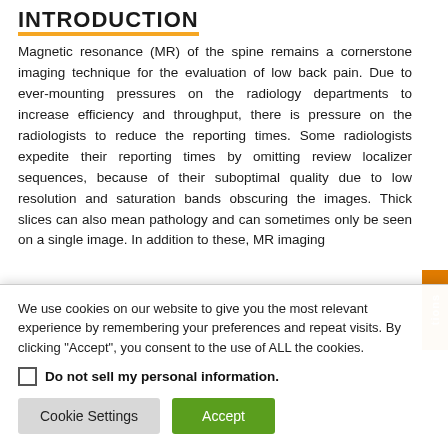INTRODUCTION
Magnetic resonance (MR) of the spine remains a cornerstone imaging technique for the evaluation of low back pain. Due to ever-mounting pressures on the radiology departments to increase efficiency and throughput, there is pressure on the radiologists to reduce the reporting times. Some radiologists expedite their reporting times by omitting review localizer sequences, because of their suboptimal quality due to low resolution and saturation bands obscuring the images. Thick slices can also mean pathology and can sometimes only be seen on a single image. In addition to these, MR imaging
We use cookies on our website to give you the most relevant experience by remembering your preferences and repeat visits. By clicking "Accept", you consent to the use of ALL the cookies.
Do not sell my personal information.